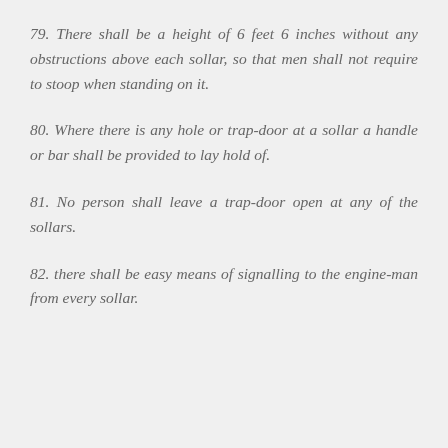79. There shall be a height of 6 feet 6 inches without any obstructions above each sollar, so that men shall not require to stoop when standing on it.
80. Where there is any hole or trap-door at a sollar a handle or bar shall be provided to lay hold of.
81. No person shall leave a trap-door open at any of the sollars.
82. there shall be easy means of signalling to the engine-man from every sollar.